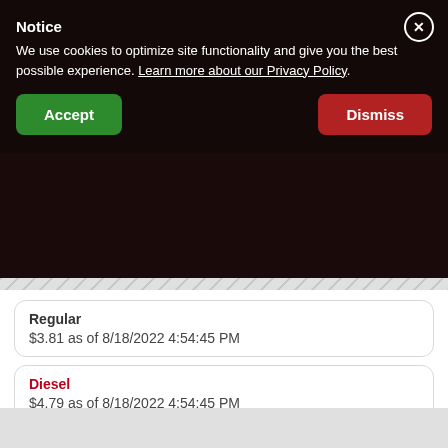Notice
We use cookies to optimize site functionality and give you the best possible experience. Learn more about our Privacy Policy.
Regular
$3.81 as of 8/18/2022 4:54:45 PM
Diesel
$4.79 as of 8/18/2022 4:54:45 PM
ADD TO ROUTE
SITE DETAILS
SHARE